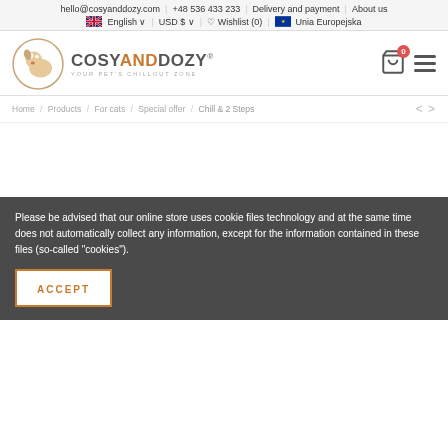hello@cosyanddozy.com | +48 536 433 233 | Delivery and payment | About us | English | USD $ | Wishlist (0) | Unia Europejska
[Figure (logo): Cosy and Dozy pet logo with circular dog/cat illustration and text COSYANDDOZY YOUR PET'S CHILLOUT ZONE]
Home / Products / For cats / Special offer / Chill & 2 Steps
Please be advised that our online store uses cookie files technology and at the same time does not automatically collect any information, except for the information contained in these files (so-called "cookies").
ACCEPT